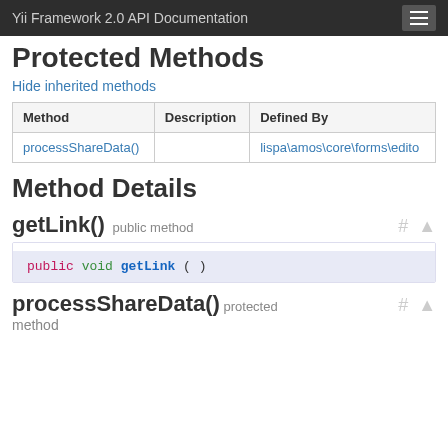Yii Framework 2.0 API Documentation
Protected Methods
Hide inherited methods
| Method | Description | Defined By |
| --- | --- | --- |
| processShareData() |  | lispa\amos\core\forms\edito |
Method Details
getLink()  public method
public void getLink ( )
processShareData()  protected method